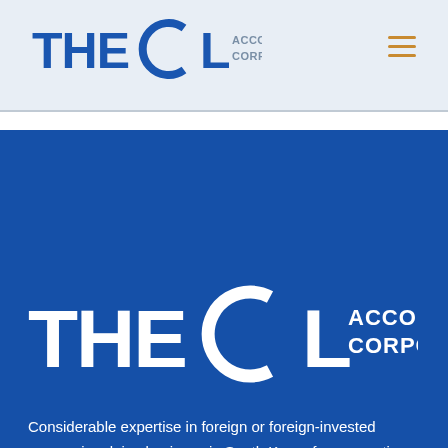[Figure (logo): THECL Accounting Corporation logo in header bar with light blue background]
[Figure (logo): THECL Accounting Corporation large white logo on blue background]
Considerable expertise in foreign or foreign-invested companies doing business in South Korea for accounting, payroll, tax and corporate secretarial services.
[Figure (infographic): Social media icons: Facebook, Twitter, LinkedIn circles]